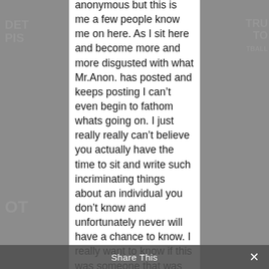[Figure (screenshot): Screenshot of a social media or forum post on a white panel overlaid on a blurred Detroit Pistons background. The visible text is a partial message expressing disgust at posts by 'Mr.Anon.' and questioning the person's actions. A 'Share This' bar appears at the bottom.]
anonymous but this is me a few people know me on here. As I sit here and become more and more disgusted with what Mr.Anon. has posted and keeps posting I can't even begin to fathom whats going on. I just really really can't believe you actually have the time to sit and write such incriminating things about an individual you don't know and unfortunately never will have a chance to know. I really want to know if this was someone that was dear to your heart like your brother would you begin to let people sit there and talk about him and they know
Share This ×